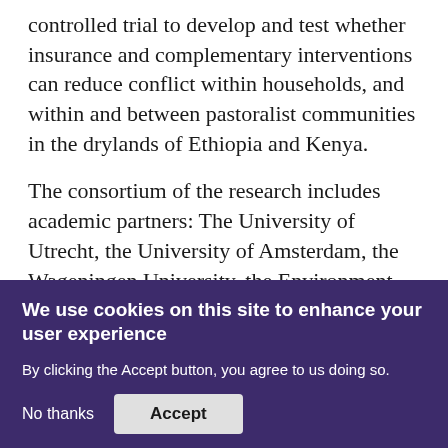controlled trial to develop and test whether insurance and complementary interventions can reduce conflict within households, and within and between pastoralist communities in the drylands of Ethiopia and Kenya.
The consortium of the research includes academic partners: The University of Utrecht, the University of Amsterdam, the Wageningen University, the Environment, and Climate Research Center, the Georgia State University Research Foundation, Inc. (GSURF), and the International Livestock Research Institute
Funder: Dutch Research Council (NWO)
We use cookies on this site to enhance your user experience
By clicking the Accept button, you agree to us doing so.